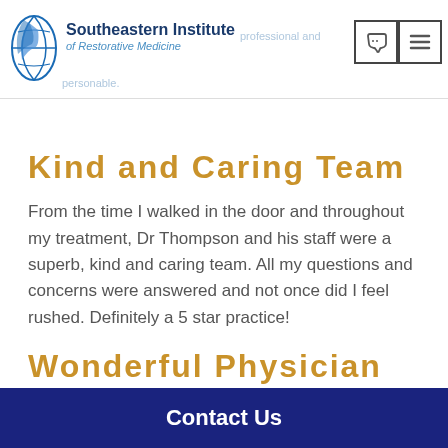Southeastern Institute of Restorative Medicine
Kind and Caring Team
From the time I walked in the door and throughout my treatment, Dr Thompson and his staff were a superb, kind and caring team. All my questions and concerns were answered and not once did I feel rushed. Definitely a 5 star practice!
Wonderful Physician
Contact Us